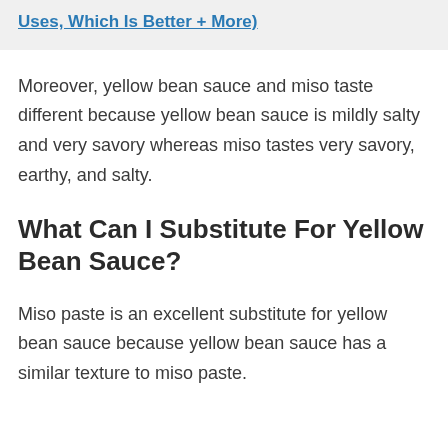Uses, Which Is Better + More)
Moreover, yellow bean sauce and miso taste different because yellow bean sauce is mildly salty and very savory whereas miso tastes very savory, earthy, and salty.
What Can I Substitute For Yellow Bean Sauce?
Miso paste is an excellent substitute for yellow bean sauce because yellow bean sauce has a similar texture to miso paste.